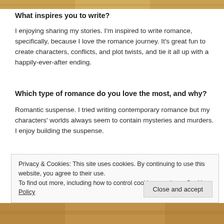[Figure (photo): Partial image at the top of the page, showing warm golden/tan tones]
What inspires you to write?
I enjoying sharing my stories. I'm inspired to write romance, specifically, because I love the romance journey. It's great fun to create characters, conflicts, and plot twists, and tie it all up with a happily-ever-after ending.
Which type of romance do you love the most, and why?
Romantic suspense. I tried writing contemporary romance but my characters' worlds always seem to contain mysteries and murders. I enjoy building the suspense.
Privacy & Cookies: This site uses cookies. By continuing to use this website, you agree to their use.
To find out more, including how to control cookies, see here: Cookie Policy
[Figure (photo): Partial image at the bottom of the page, showing warm golden/tan tones]